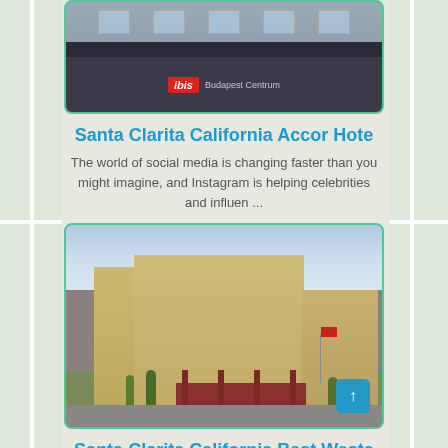[Figure (photo): Top portion of a building exterior with ibis hotel sign visible, brick facade with dark horizontal band]
Santa Clarita California Accor Hote
The world of social media is changing faster than you might imagine, and Instagram is helping celebrities and influen ...
[Figure (photo): Large multi-story hotel building exterior, tan/beige colored with multiple wings, red entrance canopy, American flag, parking lot and landscaping in foreground]
Santa Clarita California Best Weste